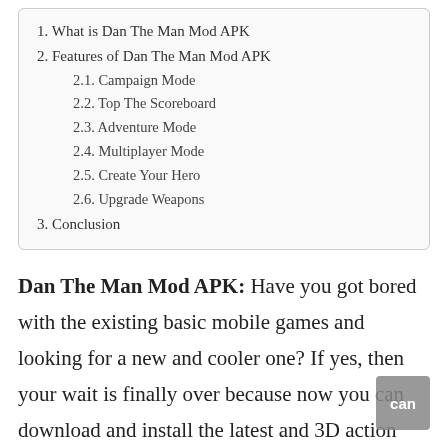1. What is Dan The Man Mod APK
2. Features of Dan The Man Mod APK
2.1. Campaign Mode
2.2. Top The Scoreboard
2.3. Adventure Mode
2.4. Multiplayer Mode
2.5. Create Your Hero
2.6. Upgrade Weapons
3. Conclusion
Dan The Man Mod APK: Have you got bored with the existing basic mobile games and looking for a new and cooler one? If yes, then your wait is finally over because now you can download and install the latest and 3D action